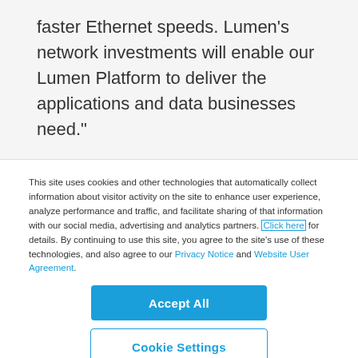faster Ethernet speeds. Lumen’s network investments will enable our Lumen Platform to deliver the applications and data businesses need.”
This site uses cookies and other technologies that automatically collect information about visitor activity on the site to enhance user experience, analyze performance and traffic, and facilitate sharing of that information with our social media, advertising and analytics partners. Click here for details. By continuing to use this site, you agree to the site’s use of these technologies, and also agree to our Privacy Notice and Website User Agreement.
Accept All
Cookie Settings